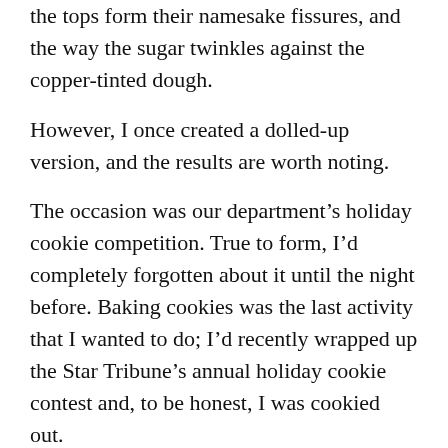the tops form their namesake fissures, and the way the sugar twinkles against the copper-tinted dough.
However, I once created a dolled-up version, and the results are worth noting.
The occasion was our department’s holiday cookie competition. True to form, I’d completely forgotten about it until the night before. Baking cookies was the last activity that I wanted to do; I’d recently wrapped up the Star Tribune’s annual holiday cookie contest and, to be honest, I was cookied out.
Turns out, staging a cookie contest for nearly 20 years creates expectations, including mandatory participation in the office baking competition. Oh, and your entry had better be good. If not, as they say in Texas, you’re all hat and no cattle.